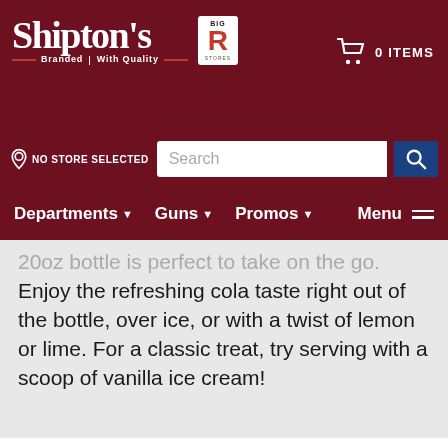Shipton's Big R — NO STORE SELECTED — 0 ITEMS
20oz bottle is perfect to take on the go. Enjoy the refreshing cola taste right out of the bottle, over ice, or with a twist of lemon or lime. For a classic treat, try serving with a scoop of vanilla ice cream!
[Figure (logo): Shipton's Big R logo placeholder image]
Be the first to hear about our sales, events, and promotions!
Your Email Address
SUBSCRIBE